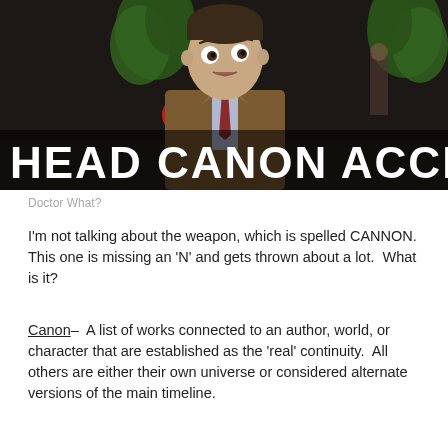[Figure (photo): A man in a brown suit with a surprised/questioning expression stands in front of a dark background with plants and people. Large white bold text overlaid reads: HEAD CANON ACCEPTED]
Doctor What?
I'm not talking about the weapon, which is spelled CANNON.  This one is missing an 'N' and gets thrown about a lot.  What is it?
Canon–  A list of works connected to an author, world, or character that are established as the 'real' continuity.  All others are either their own universe or considered alternate versions of the main timeline.